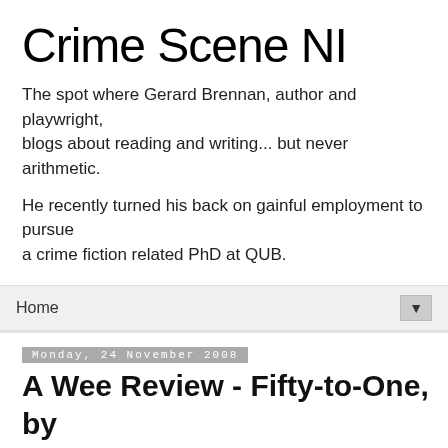Crime Scene NI
The spot where Gerard Brennan, author and playwright, blogs about reading and writing... but never arithmetic.
He recently turned his back on gainful employment to pursue a crime fiction related PhD at QUB.
Home
Monday, 24 November 2008
A Wee Review - Fifty-to-One, by Charles Ardai
[Figure (other): Book cover image placeholder box]
The concept of this book is an interesting one. Charles Ardai (along with Max